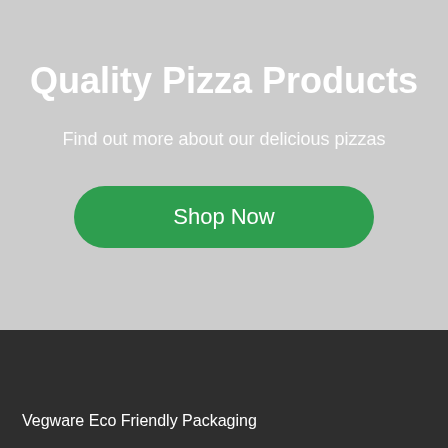Quality Pizza Products
Find out more about our delicious pizzas
Shop Now
Vegware Eco Friendly Packaging